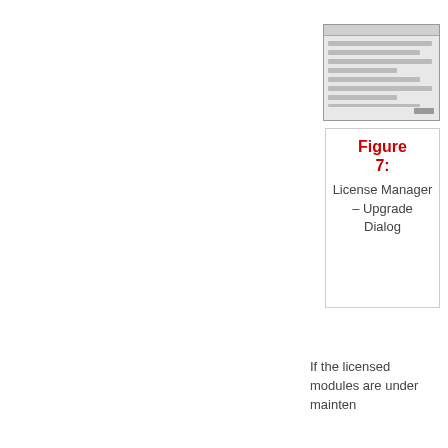[Figure (screenshot): Screenshot of License Manager Upgrade Dialog window]
Figure 7: License Manager – Upgrade Dialog
If the licensed modules are under mainten